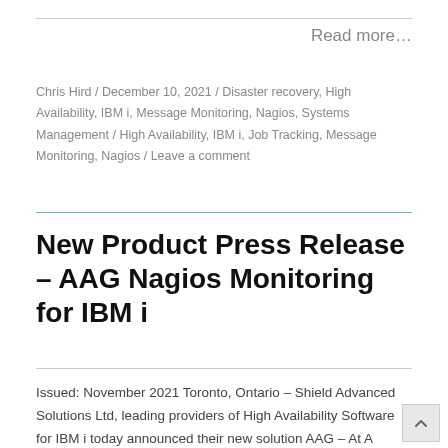Read more…
Chris Hird / December 10, 2021 / Disaster recovery, High Availability, IBM i, Message Monitoring, Nagios, Systems Management / High Availability, IBM i, Job Tracking, Message Monitoring, Nagios / Leave a comment
New Product Press Release – AAG Nagios Monitoring for IBM i
Issued: November 2021 Toronto, Ontario – Shield Advanced Solutions Ltd, leading providers of High Availability Software for IBM i today announced their new solution AAG – At A